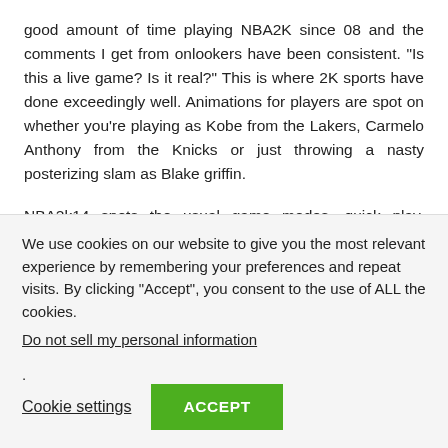good amount of time playing NBA2K since 08 and the comments I get from onlookers have been consistent. “Is this a live game? Is it real?” This is where 2K sports have done exceedingly well. Animations for players are spot on whether you’re playing as Kobe from the Lakers, Carmelo Anthony from the Knicks or just throwing a nasty posterizing slam as Blake griffin.
NBA2k14 spots the usual game modes, quick play, MyCareer, training camp, NBA blacktop and MyPlayer.  As a veteran NBA2k player, I jumped into a quick match to test my skills against the A.I. Right off the bat, you would notice the buzz in the crowd and the atmosphere of a lifelike NBA crowd. Aesthetically, NBA2k14 looks excellent. Player...
We use cookies on our website to give you the most relevant experience by remembering your preferences and repeat visits. By clicking “Accept”, you consent to the use of ALL the cookies.
Do not sell my personal information.
Cookie settings
ACCEPT